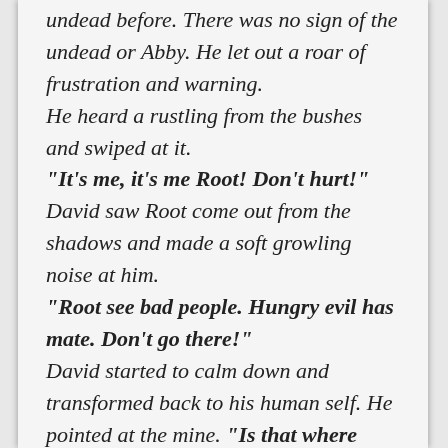undead before. There was no sign of the undead or Abby. He let out a roar of frustration and warning. He heard a rustling from the bushes and swiped at it. "It's me, it's me Root! Don't hurt!" David saw Root come out from the shadows and made a soft growling noise at him. "Root see bad people. Hungry evil has mate. Don't go there!" David started to calm down and transformed back to his human self. He pointed at the mine. "Is that where they took Abby? How long ago did they go